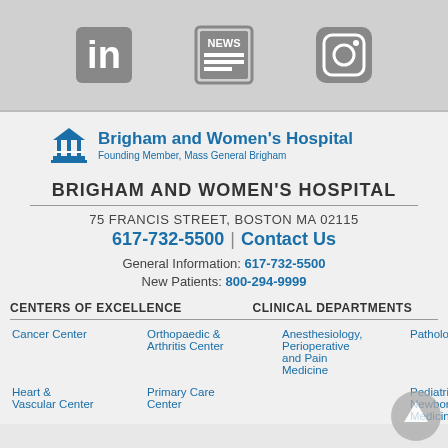[Figure (other): Social media icons: LinkedIn, News/RSS, Instagram on grey banner]
[Figure (logo): Brigham and Women's Hospital logo with building icon]
BRIGHAM AND WOMEN'S HOSPITAL
75 FRANCIS STREET, BOSTON MA 02115
617-732-5500 | Contact Us
General Information: 617-732-5500
New Patients: 800-294-9999
CENTERS OF EXCELLENCE
CLINICAL DEPARTMENTS
Cancer Center
Orthopaedic & Arthritis Center
Anesthesiology, Perioperative and Pain Medicine
Pathology
Heart & Vascular Center
Primary Care Center
Pediatric Newborn Medicine